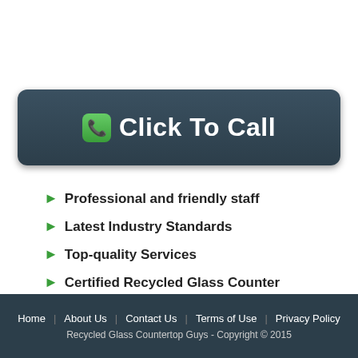[Figure (infographic): Dark teal rounded rectangle button with green phone icon and bold white text 'Click To Call']
Professional and friendly staff
Latest Industry Standards
Top-quality Services
Certified Recycled Glass Counter
Home | About Us | Contact Us | Terms of Use | Privacy Policy
Recycled Glass Countertop Guys - Copyright © 2015